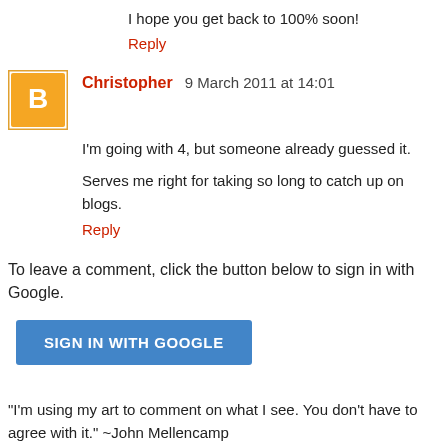I hope you get back to 100% soon!
Reply
[Figure (illustration): Blogger avatar: orange circle with white 'B' letter icon, square border]
Christopher  9 March 2011 at 14:01
I'm going with 4, but someone already guessed it.
Serves me right for taking so long to catch up on blogs.
Reply
To leave a comment, click the button below to sign in with Google.
SIGN IN WITH GOOGLE
“I’m using my art to comment on what I see. You don’t have to agree with it.” ~John Mellencamp
“Allowing an unimportant mistake to pass without